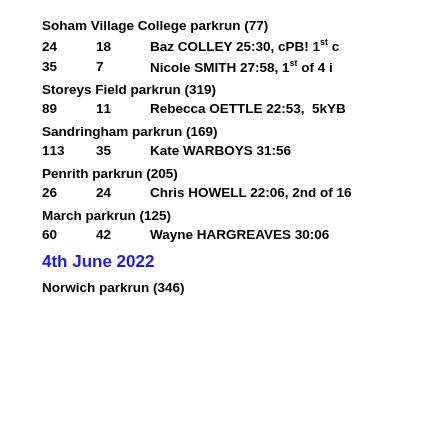Soham Village College parkrun (77)
24   18   Baz COLLEY 25:30, cPB! 1st c
35   7   Nicole SMITH 27:58, 1st of 4 i
Storeys Field parkrun (319)
89   11   Rebecca OETTLE 22:53,  5kYB
Sandringham parkrun (169)
113   35   Kate WARBOYS 31:56
Penrith parkrun (205)
26   24   Chris HOWELL 22:06, 2nd of 16
March parkrun (125)
60   42   Wayne HARGREAVES 30:06
4th June 2022
Norwich parkrun (346)